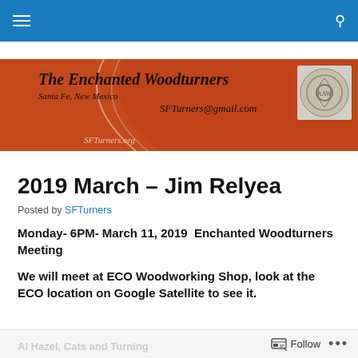Navigation bar with hamburger menu and search icon
[Figure (illustration): The Enchanted Woodturners banner with orange/red background, cursive logo text, Santa Fe New Mexico, SFTurners@gmail.com, SFTurners.org, and an AAW medallion logo on the right]
2019 March – Jim Relyea
Posted by SFTurners
Monday- 6PM- March 11, 2019  Enchanted Woodturners Meeting
We will meet at ECO Woodworking Shop, look at the ECO location on Google Satellite to see it.
Follow  •••